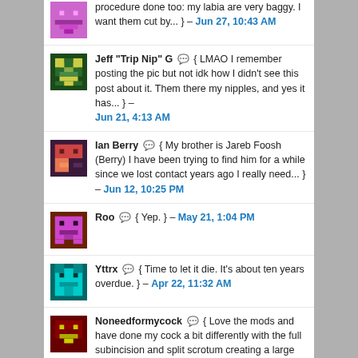procedure done too: my labia are very baggy. I want them cut by... } – Jun 27, 10:43 AM
Jeff "Trip Nip" G 💬 { LMAO I remember posting the pic but not idk how I didn't see this post about it. Them there my nipples, and yes it has... } – Jun 21, 4:13 AM
Ian Berry 💬 { My brother is Jareb Foosh (Berry) I have been trying to find him for a while since we lost contact years ago I really need... } – Jun 12, 10:25 PM
Roo 💬 { Yep. } – May 21, 1:04 PM
Yttrx 💬 { Time to let it die. It's about ten years overdue. } – Apr 22, 11:32 AM
Noneedformycock 💬 { Love the mods and have done my cock a bit differently with the full subincision and split scrotum creating a large opening for the urethra... } – Mar 30, 5:50 AM